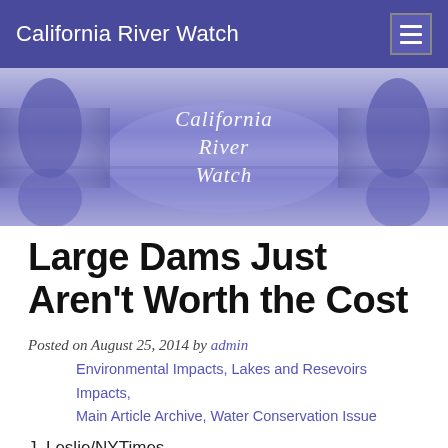California River Watch
[Figure (photo): California River Watch banner image showing a purple-toned river landscape with trees reflected in water, with 'California River Watch' text overlay in italic serif font]
Large Dams Just Aren't Worth the Cost
Posted on August 25, 2014 by admin
Environmental Impacts, Lakes and Resevoirs Impacts, Main Article Archive, Water Conservation Issue
J. Leslie/NYTimes